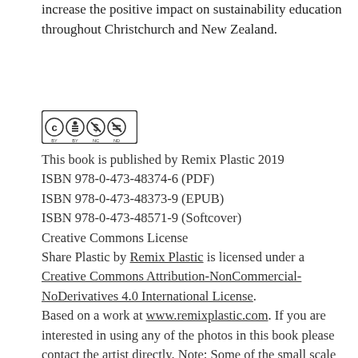increase the positive impact on sustainability education throughout Christchurch and New Zealand.
[Figure (logo): Creative Commons BY NC ND license badge with four icons in a black-bordered rectangle]
This book is published by Remix Plastic 2019
ISBN 978-0-473-48374-6 (PDF)
ISBN 978-0-473-48373-9 (EPUB)
ISBN 978-0-473-48571-9 (Softcover)
Creative Commons License
Share Plastic by Remix Plastic is licensed under a Creative Commons Attribution-NonCommercial-NoDerivatives 4.0 International License.
Based on a work at www.remixplastic.com. If you are interested in using any of the photos in this book please contact the artist directly. Note: Some of the small scale recycling initiatives showcased do not identify as Precious Plastic projects as they